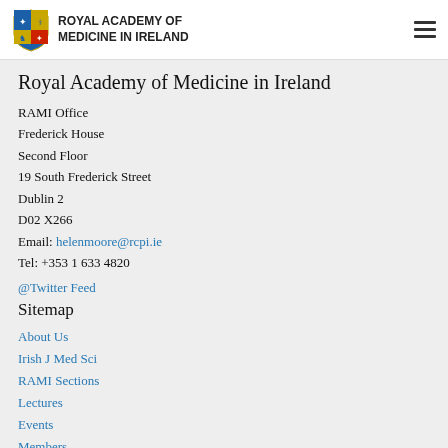ROYAL ACADEMY OF MEDICINE IN IRELAND
Royal Academy of Medicine in Ireland
RAMI Office
Frederick House
Second Floor
19 South Frederick Street
Dublin 2
D02 X266
Email: helenmoore@rcpi.ie
Tel: +353 1 633 4820
@Twitter Feed
Sitemap
About Us
Irish J Med Sci
RAMI Sections
Lectures
Events
Members